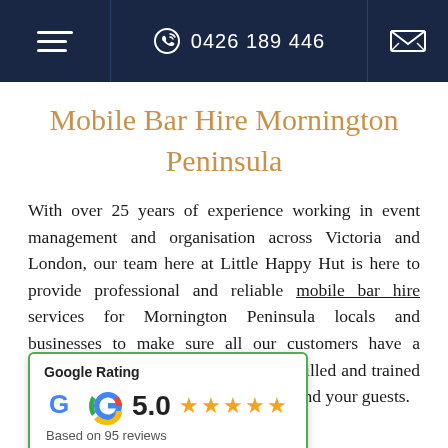☰  0426 189 446  ✉
Mobile Bar Hire Mornington Peninsula
With over 25 years of experience working in event management and organisation across Victoria and London, our team here at Little Happy Hut is here to provide professional and reliable mobile bar hire services for Mornington Peninsula locals and businesses to make sure all our customers have a stunning bar at their events with our skilled and trained team of bartenders ready to serve you and your guests.
[Figure (infographic): Google Rating popup showing 5.0 stars based on 95 reviews, with Google G logo and green top border]